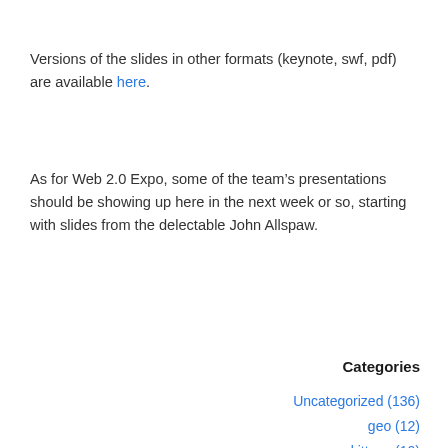Versions of the slides in other formats (keynote, swf, pdf) are available here.
As for Web 2.0 Expo, some of the team's presentations should be showing up here in the next week or so, starting with slides from the delectable John Allspaw.
Categories
Uncategorized (136)
geo (12)
kittens (10)
changelog (7)
uploadr (6)
Tags
api (24)
geo (13)
machine tags (10)